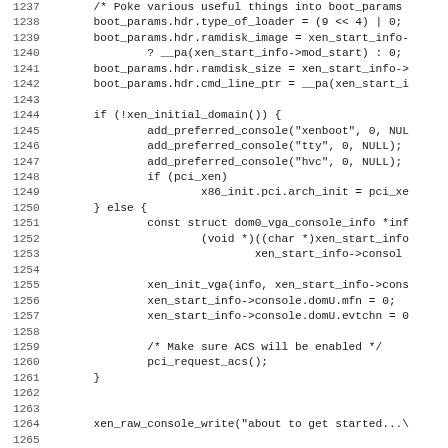[Figure (screenshot): Source code listing lines 1237-1268+ showing Linux kernel Xen boot initialization code in C, with line numbers on the left and code on the right in monospace font.]